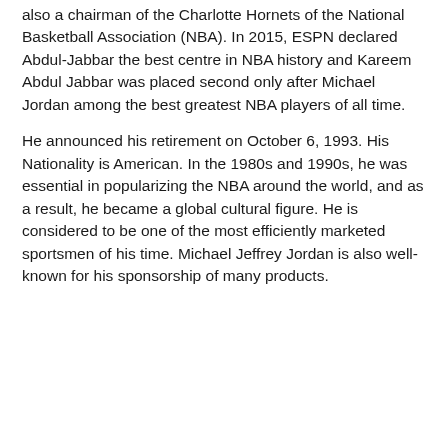also a chairman of the Charlotte Hornets of the National Basketball Association (NBA). In 2015, ESPN declared Abdul-Jabbar the best centre in NBA history and Kareem Abdul Jabbar was placed second only after Michael Jordan among the best greatest NBA players of all time.
He announced his retirement on October 6, 1993. His Nationality is American. In the 1980s and 1990s, he was essential in popularizing the NBA around the world, and as a result, he became a global cultural figure. He is considered to be one of the most efficiently marketed sportsmen of his time. Michael Jeffrey Jordan is also well-known for his sponsorship of many products.